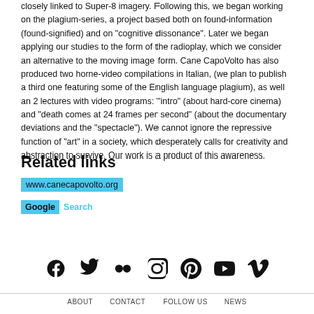closely linked to Super-8 imagery. Following this, we began working on the plagium-series, a project based both on found-information (found-signified) and on "cognitive dissonance". Later we began applying our studies to the form of the radioplay, which we consider an alternative to the moving image form. Cane CapoVolto has also produced two horne-video compilations in Italian, (we plan to publish a third one featuring some of the English language plagium), as well an 2 lectures with video programs: "intro" (about hard-core cinema) and "death comes at 24 frames per second" (about the documentary deviations and the "spectacle"). We cannot ignore the repressive function of "art" in a society, which desperately calls for creativity and abstraction to survive. Our work is a product of this awareness.
Related links
www.canecapovolto.org
Google  Search
[Figure (infographic): Row of social media icons: Facebook, Twitter, Flickr, Instagram, Pinterest, YouTube, Vimeo]
ABOUT   CONTACT   FOLLOW US   NEWS